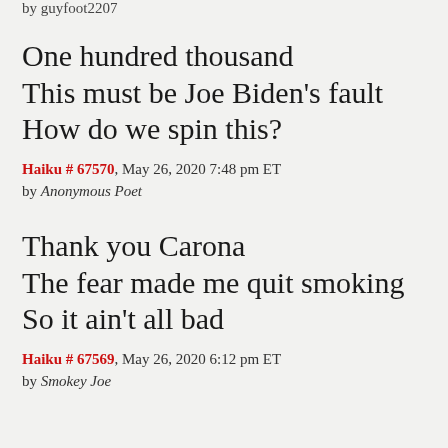by guyfoot2207
One hundred thousand
This must be Joe Biden's fault
How do we spin this?
Haiku # 67570, May 26, 2020 7:48 pm ET
by Anonymous Poet
Thank you Carona
The fear made me quit smoking
So it ain't all bad
Haiku # 67569, May 26, 2020 6:12 pm ET
by Smokey Joe